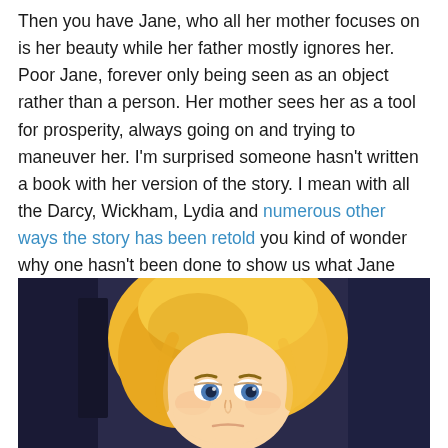Then you have Jane, who all her mother focuses on is her beauty while her father mostly ignores her. Poor Jane, forever only being seen as an object rather than a person. Her mother sees her as a tool for prosperity, always going on and trying to maneuver her. I'm surprised someone hasn't written a book with her version of the story. I mean with all the Darcy, Wickham, Lydia and numerous other ways the story has been retold you kind of wonder why one hasn't been done to show us what Jane thinks.
[Figure (illustration): Animated illustration of a sad-looking blonde character (resembling a Disney-style animated film character) with blue eyes and a concerned expression, set against a dark blurred background.]